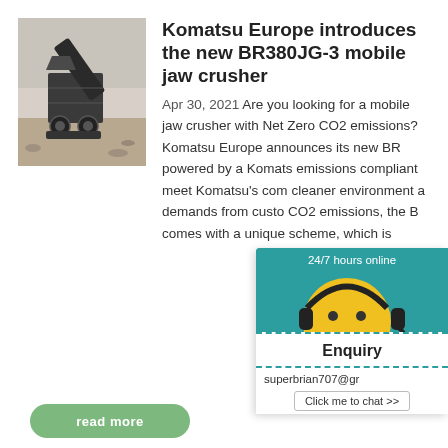[Figure (photo): Photo of Komatsu BR380JG-3 mobile jaw crusher machine operating outdoors on gravel/dirt terrain]
Komatsu Europe introduces the new BR380JG-3 mobile jaw crusher
Apr 30, 2021  Are you looking for a mobile jaw crusher with Net Zero CO2 emissions? Komatsu Europe announces its new BR... powered by a Komats... emissions compliant ... meet Komatsu's com... cleaner environment a... demands from custo... CO2 emissions, the B... comes with a unique ... scheme, which is
[Figure (screenshot): Chat widget overlay showing '24/7 hours online' header, smiley face with headset icon, chat bubble with ellipsis, and 'Click me to chat >>' button]
Enquiry
superbrian707@gr